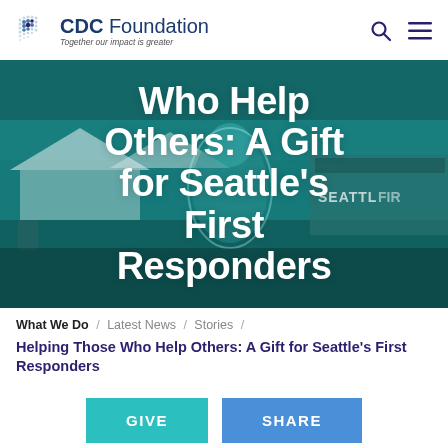[Figure (logo): CDC Foundation logo with dot grid pattern and tagline 'Together our impact is greater']
[Figure (photo): Healthcare worker in full PPE (blue gown, face mask, gloves) standing in front of a Seattle Fire truck and white tents at an outdoor COVID-19 testing site. Image has teal/cyan overlay tint. Large white text overlaid reads 'Who Help Others: A Gift for Seattle's First Responders']
What We Do / Latest News / Stories / Helping Those Who Help Others: A Gift for Seattle's First Responders
Helping Those Who Help Others: A Gift for Seattle's First Responders